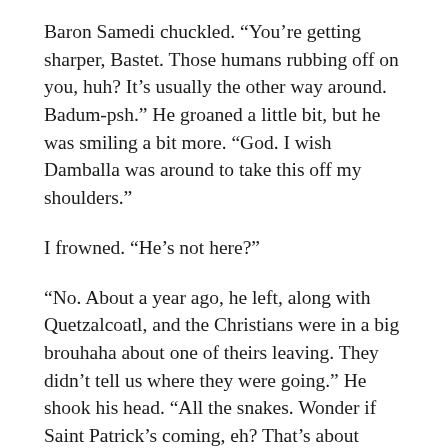Baron Samedi chuckled. “You’re getting sharper, Bastet. Those humans rubbing off on you, huh? It’s usually the other way around. Badum-psh.” He groaned a little bit, but he was smiling a bit more. “God. I wish Damballa was around to take this off my shoulders.”
I frowned. “He’s not here?”
“No. About a year ago, he left, along with Quetzalcoatl, and the Christians were in a big brouhaha about one of theirs leaving. They didn’t tell us where they were going.” He shook his head. “All the snakes. Wonder if Saint Patrick’s coming, eh? That’s about when things started getting bad. Without Quetzalcoatl to calm the Aztecs, they’ve been building to a burning point, and me… I’m a party animal. Betty, I’m around to have a good